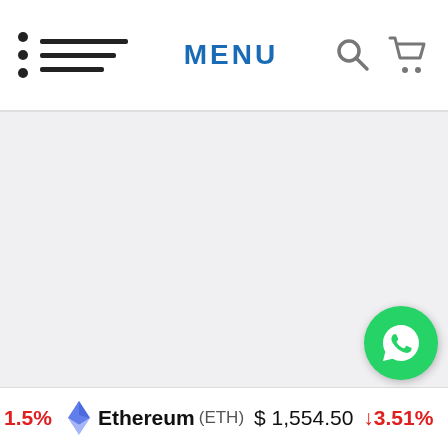MENU
[Figure (screenshot): Website navigation bar with hamburger menu icon on the left, MENU text in blue in the center, search and cart icons on the right]
[Figure (screenshot): Large blank/white content area of a webpage]
[Figure (infographic): WhatsApp contact button (green circle with phone icon) in bottom right]
1.5%  Ethereum (ETH)  $ 1,554.50  ▼3.51%  Tether (USDT)  $ 0.
1.5%  Ethereum (ETH)  $ 1,554.50  ↓3.51%  Tether (USDT)  $ 0.